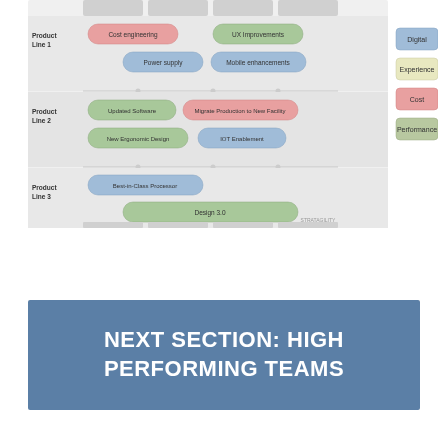[Figure (flowchart): Product roadmap diagram showing three product lines (Product Line 1, Product Line 2, Product Line 3) with colored initiative boxes across multiple time columns. Legend on the right shows Digital, Experience, Cost, Performance categories. Product Line 1 has: Cost engineering (pink), UX Improvements (green), Power supply (blue), Mobile enhancements (blue). Product Line 2 has: Updated Software (green), Migrate Production to New Facility (pink), New Ergonomic Design (green), IOT Enablement (blue). Product Line 3 has: Best-in-Class Processor (blue), Design 3.0 (green).]
NEXT SECTION: HIGH PERFORMING TEAMS